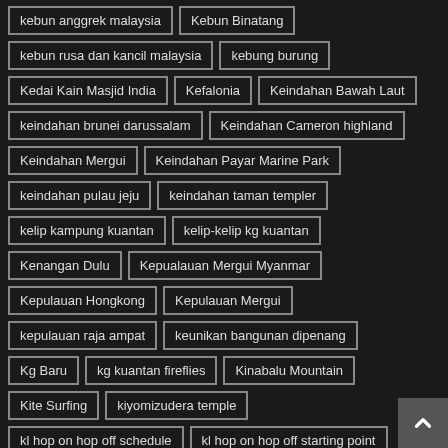kebun anggrek malaysia
Kebun Binatang
kebun rusa dan kancil malaysia
kebung burung
Kedai Kain Masjid India
Kefalonia
Keindahan Bawah Laut
keindahan brunei darussalam
Keindahan Cameron highland
Keindahan Mergui
Keindahan Payar Marine Park
keindahan pulau jeju
keindahan taman templer
kelip kampung kuantan
kelip-kelip kg kuantan
Kenangan Dulu
Kepualauan Mergui Myanmar
Kepulauan Hongkong
Kepulauan Mergui
kepulauan raja ampat
keunikan bangunan dipenang
Kg Baru
kg kuantan fireflies
Kinabalu Mountain
Kite Surfing
kiyomizudera temple
kl hop on hop off schedule
kl hop on hop off starting point
kl hop on hop off ticket
KLCC Park for child
KLIA 2